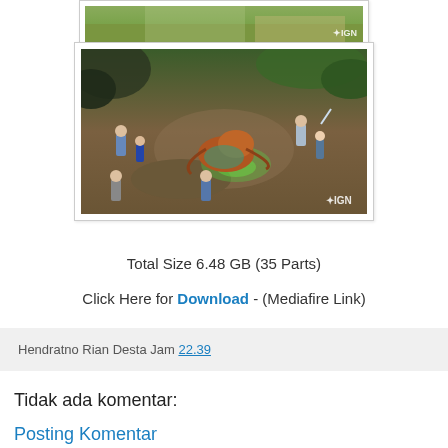[Figure (screenshot): Top partial game screenshot showing landscape/terrain, IGN watermark visible]
[Figure (screenshot): Game screenshot showing isometric RPG battle scene with creatures and characters, IGN watermark]
Total Size 6.48 GB (35 Parts)
Click Here for Download - (Mediafire Link)
Hendratno Rian Desta Jam 22.39
Tidak ada komentar:
Posting Komentar